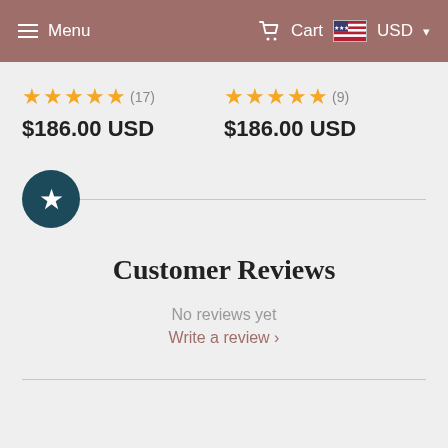≡ Menu   Cart   USD ▾
★★★★★ (17)
$186.00 USD
★★★★★ (9)
$186.00 USD
[Figure (other): Dark teal circular star badge icon]
Customer Reviews
No reviews yet
Write a review ›